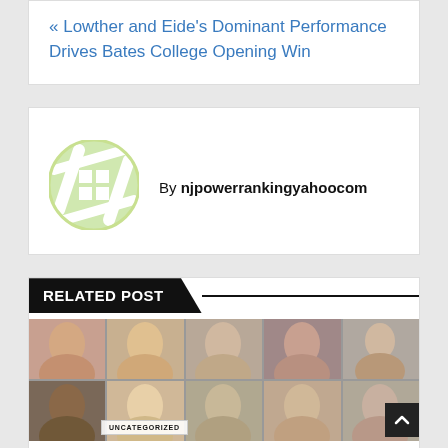« Lowther and Eide's Dominant Performance Drives Bates College Opening Win
By njpowerrankingyahoocom
[Figure (logo): Green and white circular logo with house/grid pattern]
RELATED POST
[Figure (photo): Grid of headshot photos of various people, with UNCATEGORIZED badge overlay]